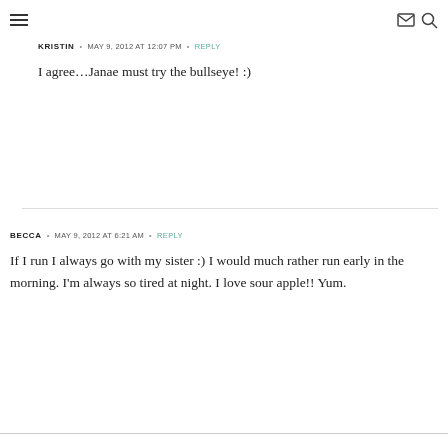menu | mail | search icons
KRISTIN • MAY 9, 2012 AT 12:07 PM • REPLY
I agree…Janae must try the bullseye! :)
BECCA • MAY 9, 2012 AT 6:21 AM • REPLY
If I run I always go with my sister :) I would much rather run early in the morning. I'm always so tired at night. I love sour apple!! Yum.